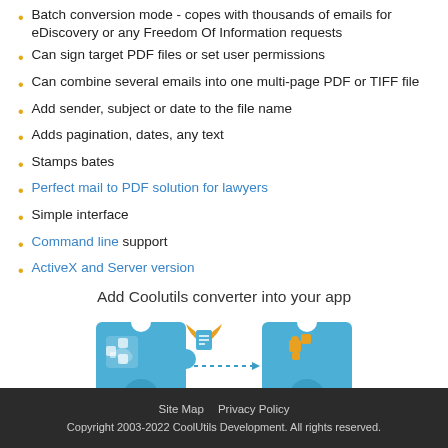Batch conversion mode - copes with thousands of emails for eDiscovery or any Freedom Of Information requests
Can sign target PDF files or set user permissions
Can combine several emails into one multi-page PDF or TIFF file
Add sender, subject or date to the file name
Adds pagination, dates, any text
Stamps bates
Perfect mail to PDF solution for lawyers
Simple interface
Command line support
ActiveX and Server version
[Figure (infographic): Infographic showing 'Add Coolutils converter into your app with just a few lines of code' — two blue puzzle/disc shapes connected by a dotted arrow, with a winged document icon in the center and a golden puzzle piece on the right disc]
Site Map   Privacy Policy
Copyright 2003-2022 CoolUtils Development. All rights reserved.